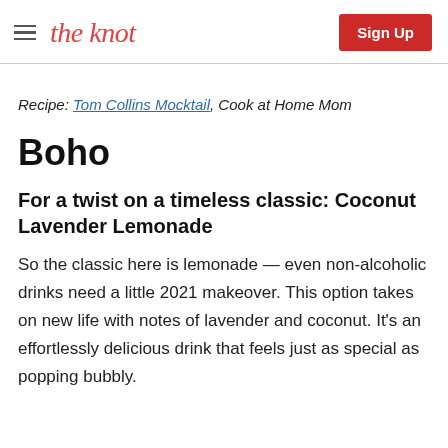the knot | Sign Up
Recipe: Tom Collins Mocktail, Cook at Home Mom
Boho
For a twist on a timeless classic: Coconut Lavender Lemonade
So the classic here is lemonade — even non-alcoholic drinks need a little 2021 makeover. This option takes on new life with notes of lavender and coconut. It's an effortlessly delicious drink that feels just as special as popping bubbly.